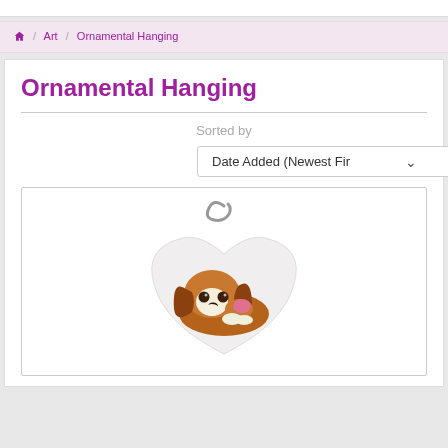🏠 / Art / Ornamental Hanging
Ornamental Hanging
Sorted by
Date Added (Newest Fir
[Figure (photo): A heart-shaped ceramic ornament hanging from a metal hook, featuring a painted image of a Cavalier King Charles Spaniel dog lying down with its paw raised near its face.]